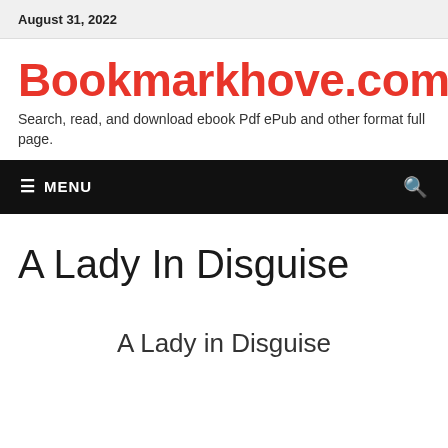August 31, 2022
Bookmarkhove.com
Search, read, and download ebook Pdf ePub and other format full page.
☰ MENU
A Lady In Disguise
A Lady in Disguise